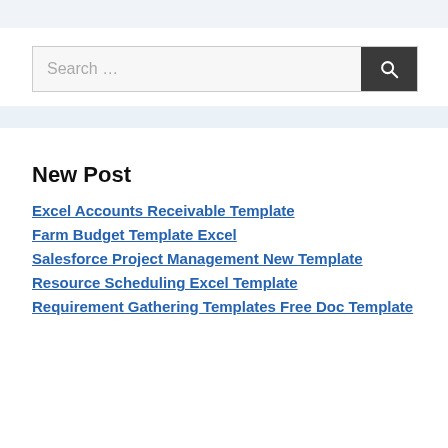[Figure (screenshot): Search bar with a text input field labeled 'Search ...' and a dark search button with a magnifying glass icon]
New Post
Excel Accounts Receivable Template
Farm Budget Template Excel
Salesforce Project Management New Template
Resource Scheduling Excel Template
Requirement Gathering Templates Free Doc Template